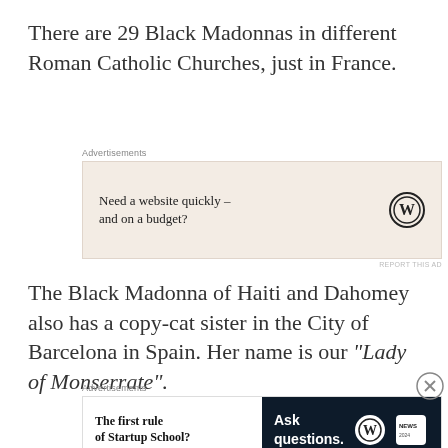There are 29 Black Madonnas in different Roman Catholic Churches, just in France.
[Figure (other): Advertisement block 1: WordPress ad with text 'Need a website quickly – and on a budget?' on a beige background with WordPress logo]
The Black Madonna of Haiti and Dahomey also has a copy-cat sister in the City of Barcelona in Spain. Her name is our "Lady of Monserrate".
[Figure (other): Advertisement block 2: Split ad with 'The first rule of Startup School?' on white left side and 'Ask questions.' on dark navy right side with WordPress and news logos. Close button (X) in top right.]